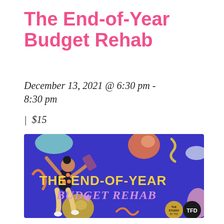The End-of-Year Budget Rehab
December 13, 2021 @ 6:30 pm - 8:30 pm
| $15
[Figure (illustration): Promotional banner image with purple/blue background showing a dancing woman figure and colorful abstract shapes. Text reads 'THE END-OF-YEAR BUDGET REHAB' in yellow and pink lettering. Bottom right shows 'THE STUDIO' and 'TFD' logos.]